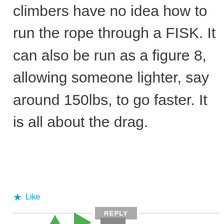climbers have no idea how to run the rope through a FISK. It can also be run as a figure 8, allowing someone lighter, say around 150lbs, to go faster. It is all about the drag.
★ Like
REPLY